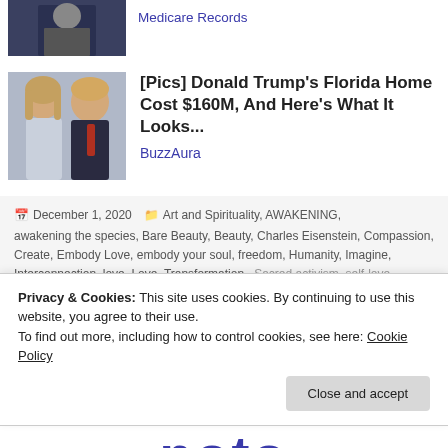Medicare Records
[Figure (photo): Partial photo of a person in dark suit at top left]
[Figure (photo): Photo of Donald Trump and Melania Trump]
[Pics] Donald Trump's Florida Home Cost $160M, And Here's What It Looks...
BuzzAura
December 1, 2020   Art and Spirituality, AWAKENING, awakening the species, Bare Beauty, Beauty, Charles Eisenstein, Compassion, Create, Embody Love, embody your soul, freedom, Humanity, Imagine, Interconnection, love, Love, Transformation,, Sacred activism, self-love, Separation consciousness, Soul View
Privacy & Cookies: This site uses cookies. By continuing to use this website, you agree to their use.
To find out more, including how to control cookies, see here: Cookie Policy
Close and accept